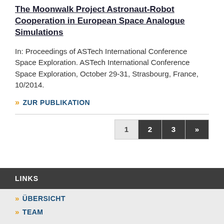The Moonwalk Project Astronaut-Robot Cooperation in European Space Analogue Simulations
In: Proceedings of ASTech International Conference Space Exploration. ASTech International Conference Space Exploration, October 29-31, Strasbourg, France, 10/2014.
» ZUR PUBLIKATION
1 2 3 »
LINKS
» ÜBERSICHT
» TEAM